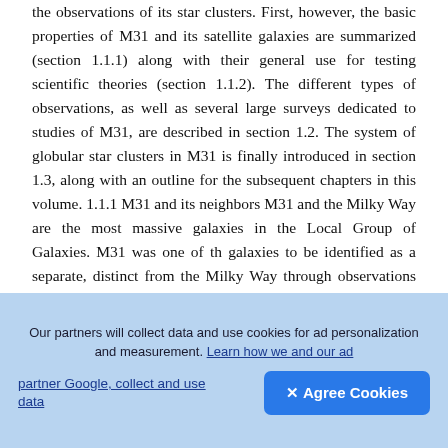the observations of its star clusters. First, however, the basic properties of M31 and its satellite galaxies are summarized (section 1.1.1) along with their general use for testing scientific theories (section 1.1.2). The different types of observations, as well as several large surveys dedicated to studies of M31, are described in section 1.2. The system of globular star clusters in M31 is finally introduced in section 1.3, along with an outline for the subsequent chapters in this volume. 1.1.1 M31 and its neighbors M31 and the Milky Way are the most massive galaxies in the Local Group of Galaxies. M31 was one of th galaxies to be identified as a separate, distinct from the Milky Way through observations of its variable stars [20]. Modern observations have demonstrated that M31 is 787 ± 25 kpc−1 [71]...
[Figure (other): Floating dark rounded square button with a compass/target circle icon in white, overlaid on the main text area.]
Our partners will collect data and use cookies for ad personalization and measurement. Learn how we and our ad partner Google, collect and use data
✕ Agree Cookies